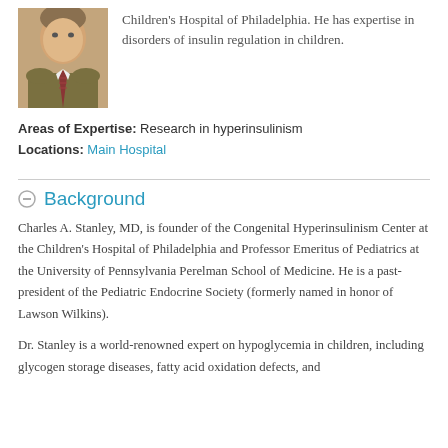Children's Hospital of Philadelphia. He has expertise in disorders of insulin regulation in children.
Areas of Expertise: Research in hyperinsulinism
Locations: Main Hospital
Background
Charles A. Stanley, MD, is founder of the Congenital Hyperinsulinism Center at the Children's Hospital of Philadelphia and Professor Emeritus of Pediatrics at the University of Pennsylvania Perelman School of Medicine. He is a past-president of the Pediatric Endocrine Society (formerly named in honor of Lawson Wilkins).
Dr. Stanley is a world-renowned expert on hypoglycemia in children, including glycogen storage diseases, fatty acid oxidation defects, and